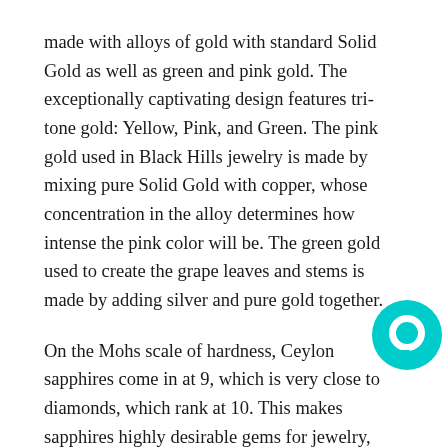made with alloys of gold with standard Solid Gold as well as green and pink gold. The exceptionally captivating design features tri-tone gold: Yellow, Pink, and Green. The pink gold used in Black Hills jewelry is made by mixing pure Solid Gold with copper, whose concentration in the alloy determines how intense the pink color will be. The green gold used to create the grape leaves and stems is made by adding silver and pure gold together.
On the Mohs scale of hardness, Ceylon sapphires come in at 9, which is very close to diamonds, which rank at 10. This makes sapphires highly desirable gems for jewelry, since people want gems with durability. Considered to be the best sapphires today are the ones mined in Sri Lanka. The blue sapphires from Sri Lanka, now referred to as Ceylon Sapphires (and Sri-Lankan Sapphires) are known for lighter, brighter, and more vivid than the dark blue sapphires that come from other countries. Sapphires are seen as the